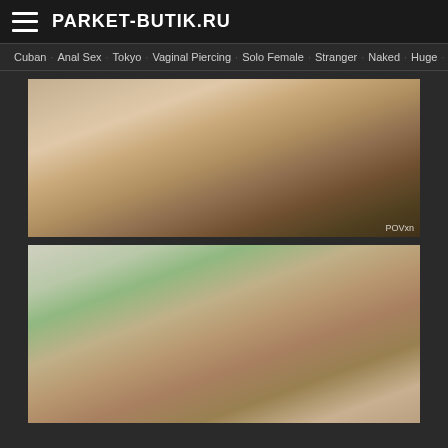PARKET-BUTIK.RU
Cuban  Anal Sex  Tokyo  Vaginal Piercing  Solo Female  Stranger  Naked  Huge  Hunk
[Figure (photo): Video thumbnail showing a person on a bed]
[Figure (photo): Video thumbnail showing two people, one wearing sunglasses]